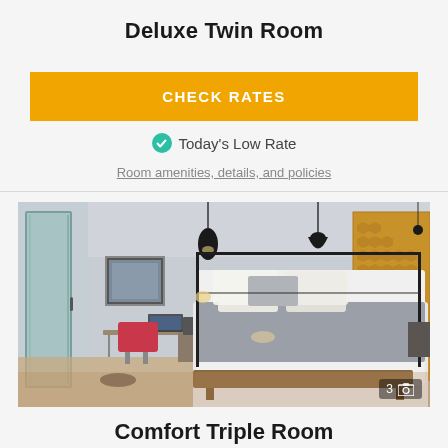Deluxe Twin Room
CHECK RATES
Today's Low Rate
Room amenities, details, and policies
[Figure (photo): Hotel room interior showing a modern deluxe twin room with a large bed with gray blanket, a four-poster metal bed frame, red/pink chair at a desk, pendant lights, and a gold textured wall panel]
Comfort Triple Room